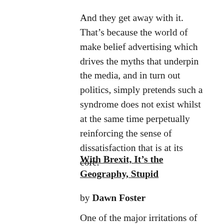And they get away with it. That’s because the world of make belief advertising which drives the myths that underpin the media, and in turn out politics, simply pretends such a syndrome does not exist whilst at the same time perpetually reinforcing the sense of dissatisfaction that is at its core.
With Brexit, It’s the Geography, Stupid
by Dawn Foster
One of the major irritations of public